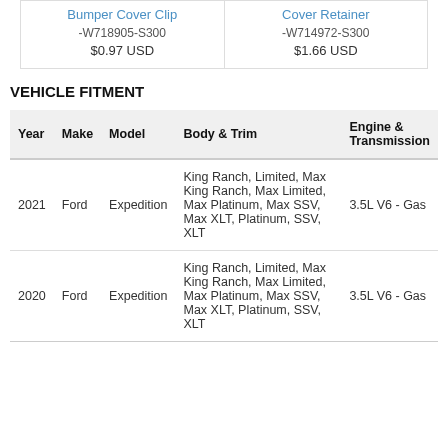|  |  |
| --- | --- |
| Bumper Cover Clip
-W718905-S300
$0.97 USD | Cover Retainer
-W714972-S300
$1.66 USD |
VEHICLE FITMENT
| Year | Make | Model | Body & Trim | Engine & Transmission |
| --- | --- | --- | --- | --- |
| 2021 | Ford | Expedition | King Ranch, Limited, Max King Ranch, Max Limited, Max Platinum, Max SSV, Max XLT, Platinum, SSV, XLT | 3.5L V6 - Gas |
| 2020 | Ford | Expedition | King Ranch, Limited, Max King Ranch, Max Limited, Max Platinum, Max SSV, Max XLT, Platinum, SSV, XLT | 3.5L V6 - Gas |